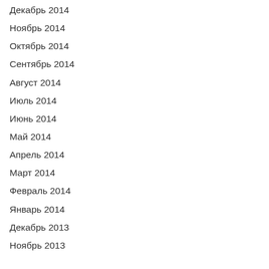Декабрь 2014
Ноябрь 2014
Октябрь 2014
Сентябрь 2014
Август 2014
Июль 2014
Июнь 2014
Май 2014
Апрель 2014
Март 2014
Февраль 2014
Январь 2014
Декабрь 2013
Ноябрь 2013